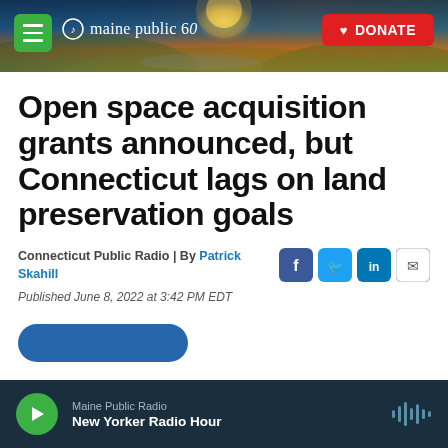[Figure (photo): Maine Public Radio 60th anniversary header banner with sunset/mountain landscape background, green hamburger menu button on left, Maine Public 60 logo in center-left, red DONATE button on right]
Open space acquisition grants announced, but Connecticut lags on land preservation goals
Connecticut Public Radio | By Patrick Skahill
Published June 8, 2022 at 3:42 PM EDT
[Figure (infographic): Maine Public Radio player bar at bottom: green play button, 'Maine Public Radio' label, 'New Yorker Radio Hour' show title, audio waveform icon on right]